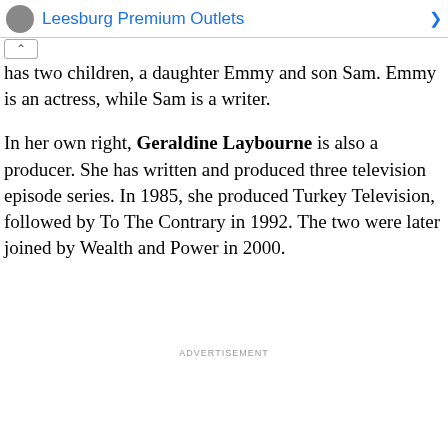[Figure (other): Advertisement banner for Leesburg Premium Outlets with logo icon, blue title text, and navigation arrow]
has two children, a daughter Emmy and son Sam. Emmy is an actress, while Sam is a writer.
In her own right, Geraldine Laybourne is also a producer. She has written and produced three television episode series. In 1985, she produced Turkey Television, followed by To The Contrary in 1992. The two were later joined by Wealth and Power in 2000.
ADVERTISEMENT